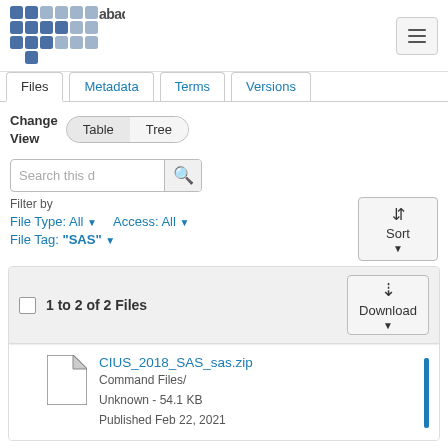[Figure (logo): Abacus logo — stylized grid of dark and light squares spelling 'abacus']
Files | Metadata | Terms | Versions tabs navigation
Change View  Table  Tree
Search this d [search button]
Filter by
File Type: All ▾   Access: All ▾
File Tag: "SAS" ▾
⇅ Sort ▾
|  | 1 to 2 of 2 Files | Download |
| --- | --- | --- |
|  | CIUS_2018_SAS_sas.zip
Command Files/
Unknown - 54.1 KB
Published Feb 22, 2021 |  |